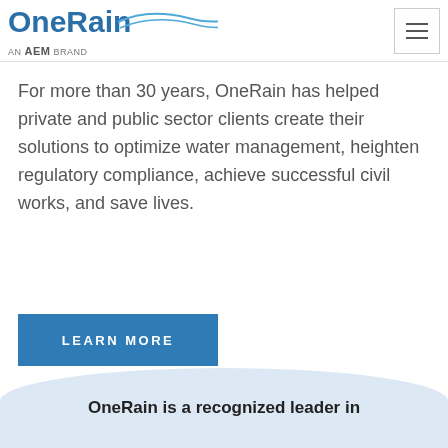OneRain — an aem brand
For more than 30 years, OneRain has helped private and public sector clients create their solutions to optimize water management, heighten regulatory compliance, achieve successful civil works, and save lives.
LEARN MORE
OneRain is a recognized leader in